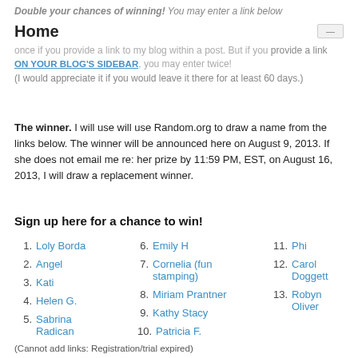Home
Double your chances of winning! You may enter a link below once if you provide a link to my blog within a post. But if you provide a link ON YOUR BLOG'S SIDEBAR, you may enter twice! (I would appreciate it if you would leave it there for at least 60 days.)
The winner. I will use will use Random.org to draw a name from the links below. The winner will be announced here on August 9, 2013. If she does not email me re: her prize by 11:59 PM, EST, on August 16, 2013, I will draw a replacement winner.
Sign up here for a chance to win!
1. Loly Borda
2. Angel
3. Kati
4. Helen G.
5. Sabrina Radican
6. Emily H
7. Cornelia (fun stamping)
8. Miriam Prantner
9. Kathy Stacy
10. Patricia F.
11. Phi
12. Carol Doggett
13. Robyn Oliver
(Cannot add links: Registration/trial expired)